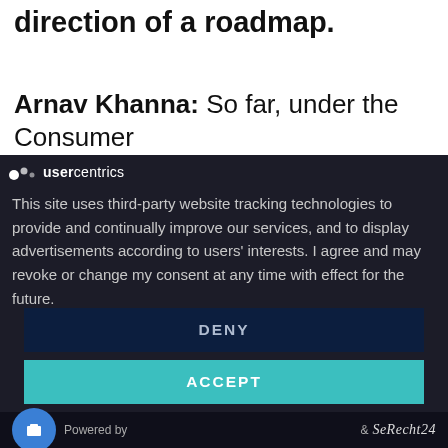direction of a roadmap.
Arnav Khanna: So far, under the Consumer
usercentrics
This site uses third-party website tracking technologies to provide and continually improve our services, and to display advertisements according to users' interests. I agree and may revoke or change my consent at any time with effect for the future.
DENY
ACCEPT
MORE
Powered by & eRecht24